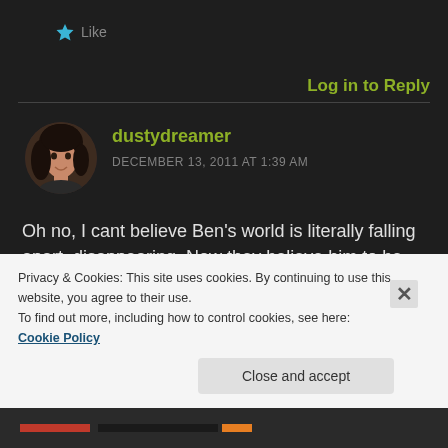[Figure (other): Star/Like button icon with 'Like' text]
Log in to Reply
[Figure (photo): User avatar photo of dustydreamer — a person with dark hair]
dustydreamer
DECEMBER 13, 2011 AT 1:39 AM
Oh no, I cant believe Ben's world is literally falling apart, disappearing. Now they believe him to be even more so crazy...but what he is witnessing...
Privacy & Cookies: This site uses cookies. By continuing to use this website, you agree to their use.
To find out more, including how to control cookies, see here: Cookie Policy
Close and accept